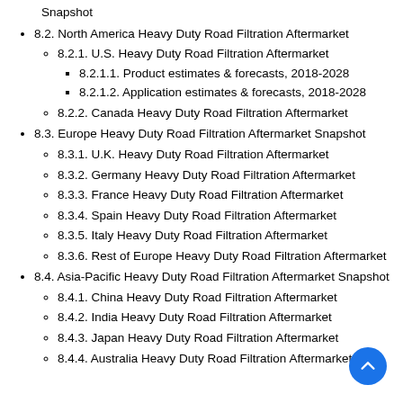Snapshot
8.2. North America Heavy Duty Road Filtration Aftermarket
8.2.1. U.S. Heavy Duty Road Filtration Aftermarket
8.2.1.1. Product estimates & forecasts, 2018-2028
8.2.1.2. Application estimates & forecasts, 2018-2028
8.2.2. Canada Heavy Duty Road Filtration Aftermarket
8.3. Europe Heavy Duty Road Filtration Aftermarket Snapshot
8.3.1. U.K. Heavy Duty Road Filtration Aftermarket
8.3.2. Germany Heavy Duty Road Filtration Aftermarket
8.3.3. France Heavy Duty Road Filtration Aftermarket
8.3.4. Spain Heavy Duty Road Filtration Aftermarket
8.3.5. Italy Heavy Duty Road Filtration Aftermarket
8.3.6. Rest of Europe Heavy Duty Road Filtration Aftermarket
8.4. Asia-Pacific Heavy Duty Road Filtration Aftermarket Snapshot
8.4.1. China Heavy Duty Road Filtration Aftermarket
8.4.2. India Heavy Duty Road Filtration Aftermarket
8.4.3. Japan Heavy Duty Road Filtration Aftermarket
8.4.4. Australia Heavy Duty Road Filtration Aftermarket